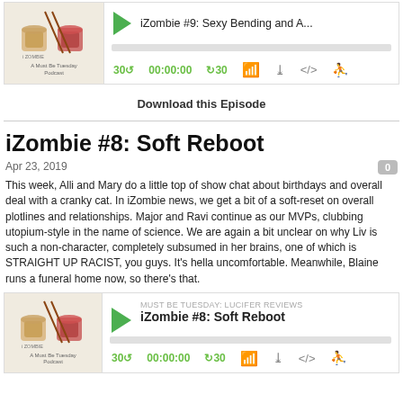[Figure (screenshot): Podcast player for iZombie #9: Sexy Bending and A... with play button, progress bar, and controls showing 30s skip, 00:00:00, +30s]
Download this Episode
iZombie #8: Soft Reboot
Apr 23, 2019
This week, Alli and Mary do a little top of show chat about birthdays and overall deal with a cranky cat. In iZombie news, we get a bit of a soft-reset on overall plotlines and relationships. Major and Ravi continue as our MVPs, clubbing utopium-style in the name of science. We are again a bit unclear on why Liv is such a non-character, completely subsumed in her brains, one of which is STRAIGHT UP RACIST, you guys. It's hella uncomfortable. Meanwhile, Blaine runs a funeral home now, so there's that.
[Figure (screenshot): Podcast player for iZombie #8: Soft Reboot with play button, progress bar, and controls showing 30s skip, 00:00:00, +30s]